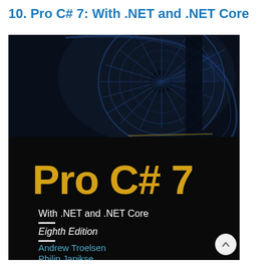10. Pro C# 7: With .NET and .NET Core
[Figure (photo): Book cover of 'Pro C# 7: With .NET and .NET Core, Eighth Edition' by Andrew Troelsen and Philip Japikse. Black background with a blue-toned spiral staircase photograph in the upper portion. Large yellow bold text reads 'Pro C# 7'. Below in white text: 'With .NET and .NET Core', a dash separator, italic 'Eighth Edition', another dash separator, then in blue/cyan text 'Andrew Troelsen' and 'Philip Japikse'.]